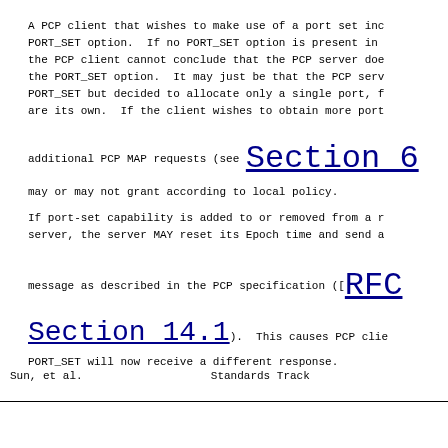A PCP client that wishes to make use of a port set inc PORT_SET option.  If no PORT_SET option is present in the PCP client cannot conclude that the PCP server doe the PORT_SET option.  It may just be that the PCP serv PORT_SET but decided to allocate only a single port, f are its own.  If the client wishes to obtain more port
additional PCP MAP requests (see Section 6 may or may not grant according to local policy.
If port-set capability is added to or removed from a r server, the server MAY reset its Epoch time and send a message as described in the PCP specification ([RFC Section 14.1 ).  This causes PCP clie PORT_SET will now receive a different response.
Sun, et al.                    Standards Track